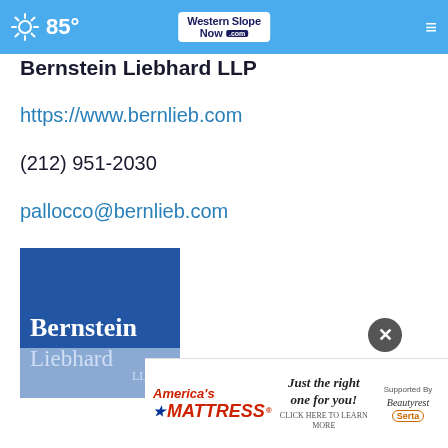85° Western Slope Now .com
Bernstein Liebhard LLP
https://www.bernlieb.com
(212) 951-2030
pallocco@bernlieb.com
[Figure (logo): Bernstein Liebhard LLP logo — white text on blue background]
[Figure (advertisement): America's Mattress advertisement — 'Just the right one for you! CLICK HERE TO LEARN MORE' — Supported By Beautyrest and Serta logos]